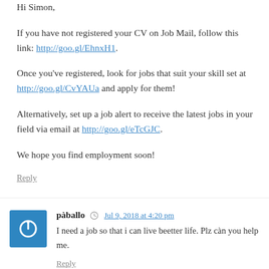Hi Simon,
If you have not registered your CV on Job Mail, follow this link: http://goo.gl/EhnxH1.
Once you've registered, look for jobs that suit your skill set at http://goo.gl/CvYAUa and apply for them!
Alternatively, set up a job alert to receive the latest jobs in your field via email at http://goo.gl/eTcGJC.
We hope you find employment soon!
Reply
pàballo  Jul 9, 2018 at 4:20 pm
I need a job so that i can live beetter life. Plz càn you help me.
Reply
Jani Grey  Jul 17, 2018 at 11:13 am
Hi Paballo,
If you have not registered your CV on Job Mail, follow this...